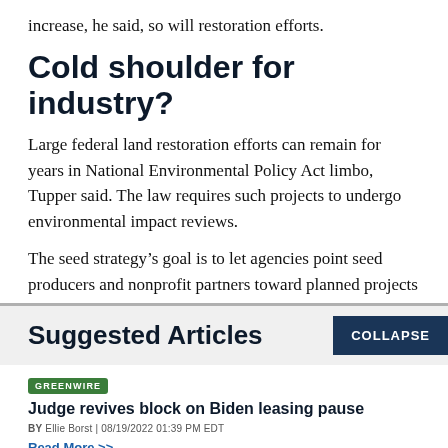increase, he said, so will restoration efforts.
Cold shoulder for industry?
Large federal land restoration efforts can remain for years in National Environmental Policy Act limbo, Tupper said. The law requires such projects to undergo environmental impact reviews.
The seed strategy’s goal is to let agencies point seed producers and nonprofit partners toward planned projects
Suggested Articles
COLLAPSE
GREENWIRE
Judge revives block on Biden leasing pause
BY Ellie Borst | 08/19/2022 01:39 PM EDT
Read More >>
GREENWIRE
Breakthrough research could destroy ‘forever chemicals’